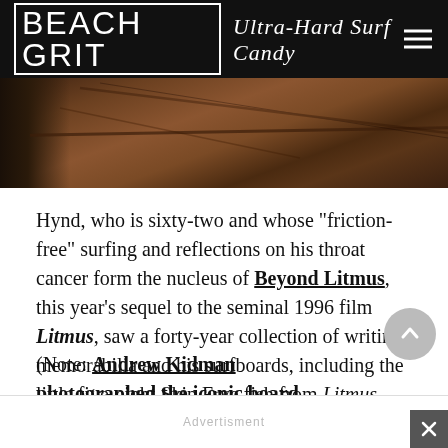BEACH GRIT Ultra-Hard Surf Candy
[Figure (photo): Partial view of a person near burnt/dirt ground with a rail or rod visible, rusty brown earth tones]
Hynd, who is sixty-two and whose "friction-free" surfing and reflections on his throat cancer form the nucleus of Beyond Litmus, this year's sequel to the seminal 1996 film Litmus, saw a forty-year collection of writing, memorabilia and his surfboards, including the little five-eight Skip Frye fish from Litmus, disappear in the flames.
(Note: Andrew Kidman photographed the iconic board before it combusted.)